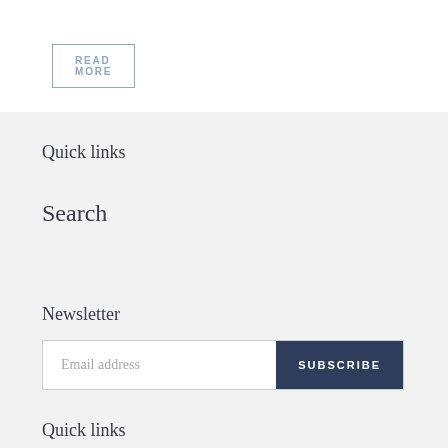READ MORE
Quick links
Search
Newsletter
Email address
SUBSCRIBE
Quick links